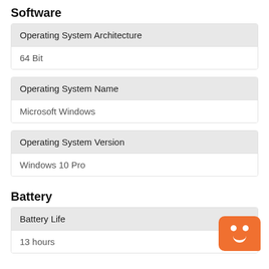Software
| Operating System Architecture |
| --- |
| 64 Bit |
| Operating System Name |
| --- |
| Microsoft Windows |
| Operating System Version |
| --- |
| Windows 10 Pro |
Battery
| Battery Life |
| --- |
| 13 hours |